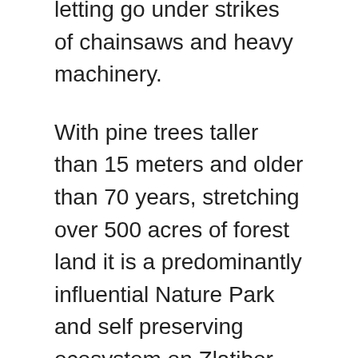The magnificent evergreen forest on Mtr Zlatibor is letting go under strikes of chainsaws and heavy machinery.
With pine trees taller than 15 meters and older than 70 years, stretching over 500 acres of forest land it is a predominantly influential Nature Park and self preserving ecosystem on Zlatibor.
Planted immediately upon the end of the Second World War it bore status of protected natural wealth and had become a habitat to numerous animal and plant species.
Today it's a host to a large number of families of squirrels and rabbits, also turtles, moles, hedgehogs, ant colonies, lizard dens and various birds such are robins, woodpeckers, ouzels, owls, wild pigeons...